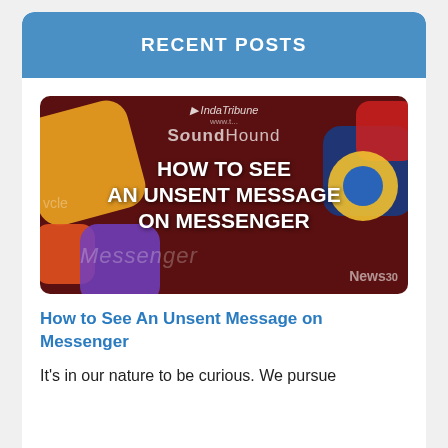RECENT POSTS
[Figure (photo): Thumbnail image of smartphone app icons on a dark red background with overlaid text reading HOW TO SEE AN UNSENT MESSAGE ON MESSENGER. App icons visible include SoundHound, Messenger, and News. A small watermark logo is visible at the top center.]
How to See An Unsent Message on Messenger
It's in our nature to be curious. We pursue